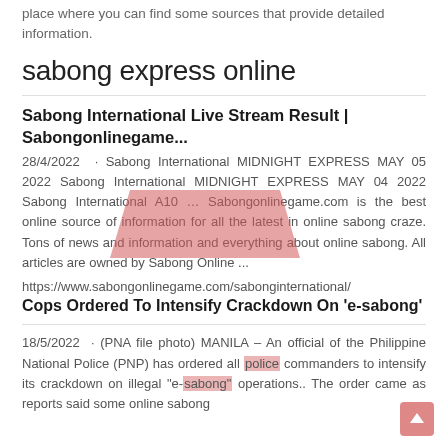place where you can find some sources that provide detailed information.
sabong express online
Sabong International Live Stream Result | Sabongonlinegame...
28/4/2022 · Sabong International MIDNIGHT EXPRESS MAY 05 2022 Sabong International MIDNIGHT EXPRESS MAY 04 2022 Sabong International A10 … Sabongonlinegame.com is the best online source of information for all the latest in online sabong craze. Tons of news and information and everything about online sabong. All articles are owned by Sabong Online ...
https://www.sabongonlinegame.com/sabonginternational/
Cops Ordered To Intensify Crackdown On 'e-sabong'
18/5/2022 · (PNA file photo) MANILA – An official of the Philippine National Police (PNP) has ordered all police commanders to intensify its crackdown on illegal "e-sabong" operations.. The order came as reports said some online sabong